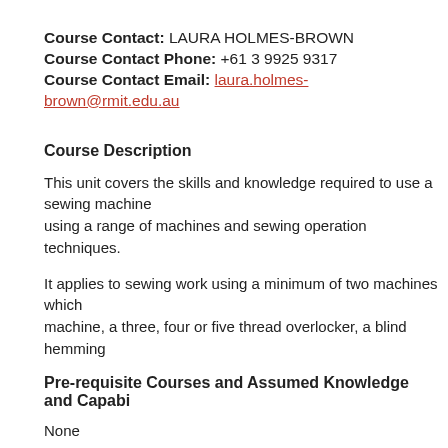Course Contact: LAURA HOLMES-BROWN
Course Contact Phone: +61 3 9925 9317
Course Contact Email: laura.holmes-brown@rmit.edu.au
Course Description
This unit covers the skills and knowledge required to use a sewing machine using a range of machines and sewing operation techniques.
It applies to sewing work using a minimum of two machines which machine, a three, four or five thread overlocker, a blind hemming
Pre-requisite Courses and Assumed Knowledge and Capabilities
None
National Competency Codes and Titles